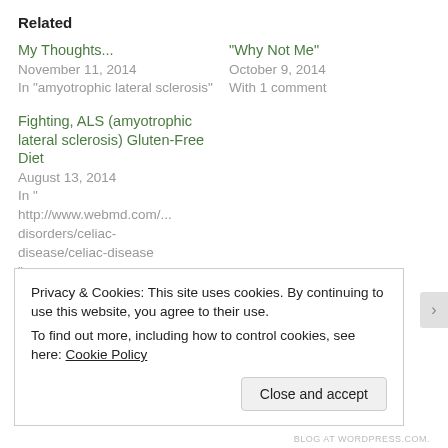Related
My Thoughts...
November 11, 2014
In "amyotrophic lateral sclerosis"
“Why Not Me”
October 9, 2014
With 1 comment
Fighting, ALS (amyotrophic lateral sclerosis) Gluten-Free Diet
August 13, 2014
In "http://www.webmd.com/...disorders/celiac-disease/celiac-disease"
Privacy & Cookies: This site uses cookies. By continuing to use this website, you agree to their use.
To find out more, including how to control cookies, see here: Cookie Policy
BLOG AT WORDPRESS.COM.